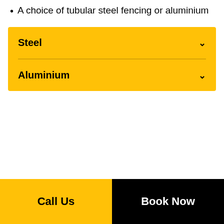A choice of tubular steel fencing or aluminium
Steel
Aluminium
Call Us   Book Now